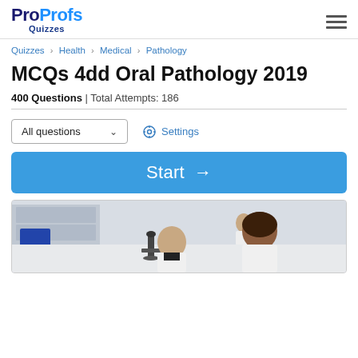ProProfs Quizzes
Quizzes > Health > Medical > Pathology
MCQs 4dd Oral Pathology 2019
400 Questions | Total Attempts: 186
All questions  Settings
Start →
[Figure (photo): Two researchers in white lab coats looking through a microscope in a laboratory setting, with another person visible in the background]